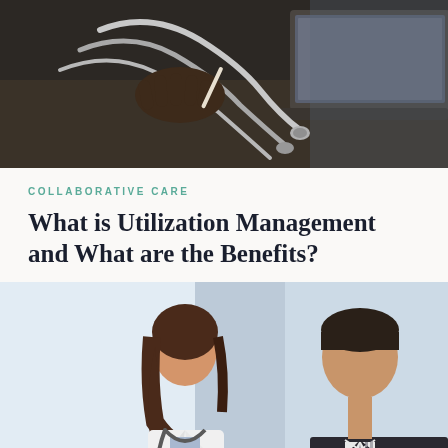[Figure (photo): Close-up photo of a doctor's hands on a desk with a stethoscope and laptop, dark-toned background]
COLLABORATIVE CARE
What is Utilization Management and What are the Benefits?
[Figure (photo): A female doctor in a white coat with stethoscope consulting with a male patient at a desk in a bright office]